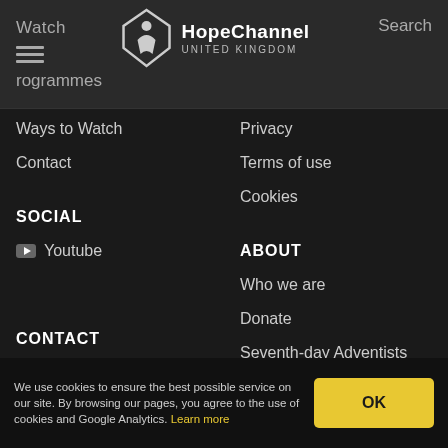Watch | HopeChannel UNITED KINGDOM | Search
Ways to Watch
Privacy
Contact
Terms of use
Cookies
SOCIAL
ABOUT
Youtube
Who we are
Donate
Seventh-day Adventists
CONTACT
Adventist Media Centre
Hope Channel
Stanborough Park
We use cookies to ensure the best possible service on our site. By browsing our pages, you agree to the use of cookies and Google Analytics. Learn more